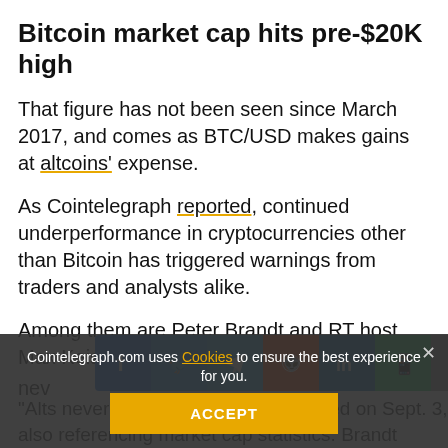Bitcoin market cap hits pre-$20K high
That figure has not been seen since March 2017, and comes as BTC/USD makes gains at altcoins' expense.
As Cointelegraph reported, continued underperformance in cryptocurrencies other than Bitcoin has triggered warnings from traders and analysts alike.
Among them are Peter Brandt and RT host Max Keiser, the [share bar partially obscures text] nev[er]
[Figure (other): Social media share buttons: Facebook, Twitter, Telegram, Reddit, LinkedIn, WhatsApp, copy, scroll-to-top]
"Alts never coming back" — he tweeted on Sept. 3, also referencing market cap statistics. Brandt reiterated similar warnings.
Cointelegraph.com uses Cookies to ensure the best experience for you.
ACCEPT